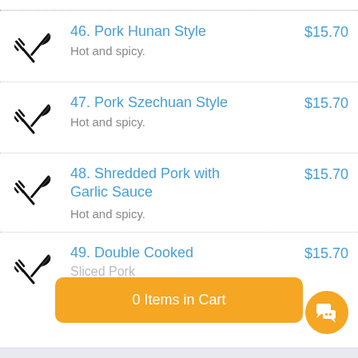46. Pork Hunan Style $15.70 Hot and spicy.
47. Pork Szechuan Style $15.70 Hot and spicy.
48. Shredded Pork with Garlic Sauce $15.70 Hot and spicy.
49. Double Cooked Sliced Pork $15.70